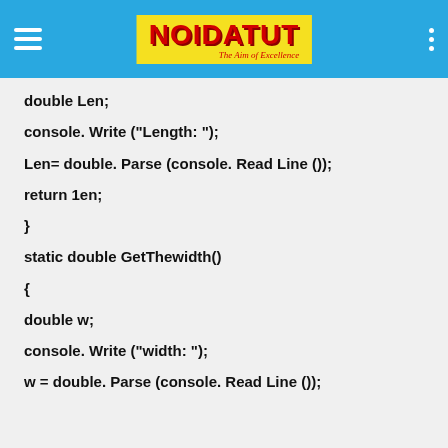NOIDATUT - The Aim of Excellence
double Len;
console. Write ("Length: ");
Len= double. Parse (console. Read Line ());
return 1en;
}
static double GetThewidth()
{
double w;
console. Write ("width: ");
w = double. Parse (console. Read Line ());